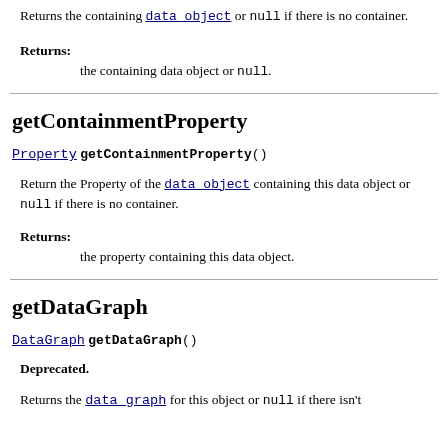Returns the containing data_object or null if there is no container.
Returns: the containing data object or null.
getContainmentProperty
Property getContainmentProperty()
Return the Property of the data_object containing this data object or null if there is no container.
Returns: the property containing this data object.
getDataGraph
DataGraph getDataGraph()
Deprecated.
Returns the data_graph for this object or null if there isn't